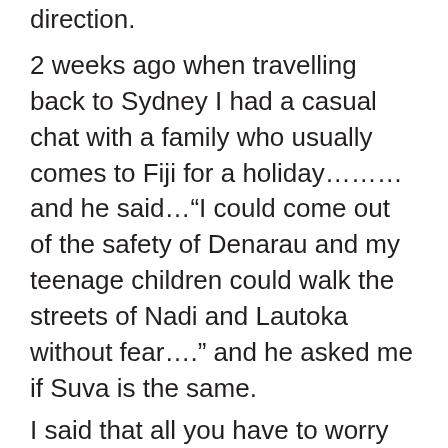direction.
2 weeks ago when travelling back to Sydney I had a casual chat with a family who usually comes to Fiji for a holiday………and he said…“I could come out of the safety of Denarau and my teenage children could walk the streets of Nadi and Lautoka without fear…..” and he asked me if Suva is the same.
I said that all you have to worry about in Suva is the traffic and taxi drivers from LA.
Oh…..and talking about the LA’s…can we now send back some of those